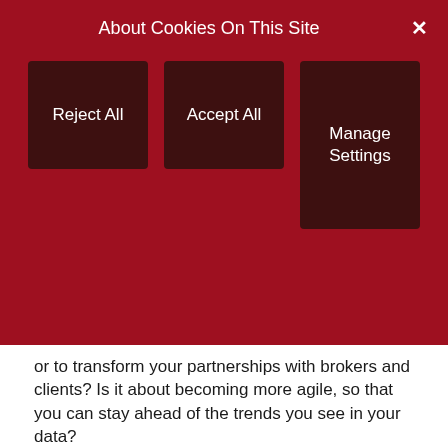About Cookies On This Site
Reject All
Accept All
Manage Settings
or to transform your partnerships with brokers and clients? Is it about becoming more agile, so that you can stay ahead of the trends you see in your data?
Once you understand why you’re changing, you can work out the best way to do it.
Look at your IT and data landscape
As in much of the financial services sector, insurance businesses have often pursued a “build it, don’t buy it” policy – and so will be working with a number of